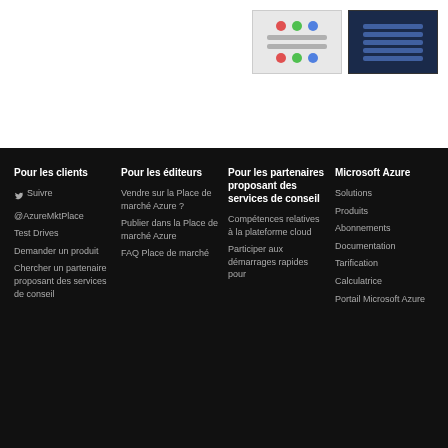[Figure (screenshot): Two screenshots: one light-themed UI with icons, one dark-themed table/form interface]
Pour les clients
Pour les éditeurs
Pour les partenaires proposant des services de conseil
Microsoft Azure
Suivre @AzureMktPlace
Vendre sur la Place de marché Azure ?
Pour les partenaires proposant des services de conseil
Solutions
Test Drives
Publier dans la Place de marché Azure
Compétences relatives à la plateforme cloud
Produits
Demander un produit
FAQ Place de marché
Participer aux démarrages rapides pour
Abonnements
Chercher un partenaire proposant des services de conseil
Documentation
Tarification
Calculatrice
Portail Microsoft Azure